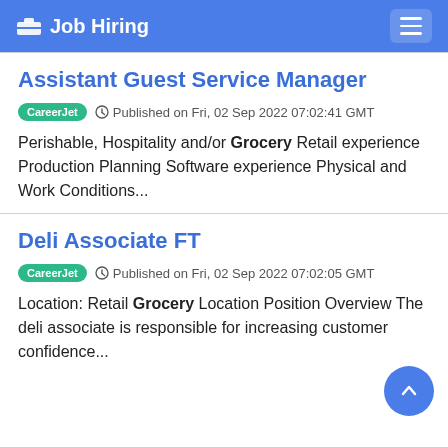Job Hiring
Assistant Guest Service Manager
CareerJet  Published on Fri, 02 Sep 2022 07:02:41 GMT
Perishable, Hospitality and/or Grocery Retail experience Production Planning Software experience Physical and Work Conditions...
Deli Associate FT
CareerJet  Published on Fri, 02 Sep 2022 07:02:05 GMT
Location: Retail Grocery Location Position Overview The deli associate is responsible for increasing customer confidence...